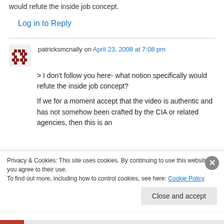would refute the inside job concept.
Log in to Reply
patricksmcnally on April 23, 2008 at 7:08 pm
> I don't follow you here- what notion specifically would refute the inside job concept?

If we for a moment accept that the video is authentic and has not somehow been crafted by the CIA or related agencies, then this is an
Privacy & Cookies: This site uses cookies. By continuing to use this website, you agree to their use.
To find out more, including how to control cookies, see here: Cookie Policy
Close and accept